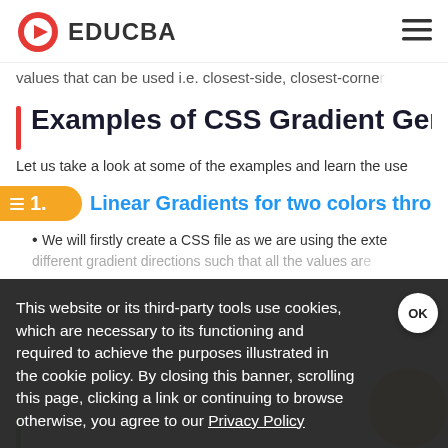EDUCBA
values that can be used i.e. closest-side, closest-corner
Examples of CSS Gradient Gen
Let us take a look at some of the examples and learn the use
1. Linear Gradients for two colors thro
We will firstly create a CSS file as we are using the exte
different gradient directions such that all the values ar
This website or its third-party tools use cookies, which are necessary to its functioning and required to achieve the purposes illustrated in the cookie policy. By closing this banner, scrolling this page, clicking a link or continuing to browse otherwise, you agree to our Privacy Policy